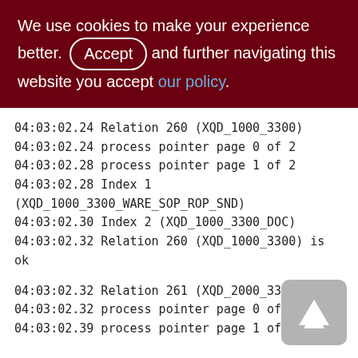We use cookies to make your experience better. By Accepting and further navigating this website you accept our policy.
04:03:02.24 Relation 260 (XQD_1000_3300)
04:03:02.24 process pointer page 0 of 2
04:03:02.28 process pointer page 1 of 2
04:03:02.28 Index 1 (XQD_1000_3300_WARE_SOP_ROP_SND)
04:03:02.30 Index 2 (XQD_1000_3300_DOC)
04:03:02.32 Relation 260 (XQD_1000_3300) is ok
04:03:02.32 Relation 261 (XQD_2000_3300)
04:03:02.32 process pointer page 0 of 20
04:03:02.39 process pointer page 1 of 20